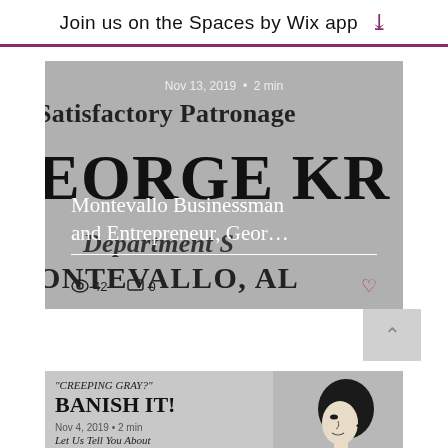Join us on the Spaces by Wix app
[Figure (screenshot): App card showing a historical newspaper article about Montevallo Businessman and Entrepreneur George Kro... with gray newspaper background, date Nov 13, 2019, 2 min read, 42 views, 0 comments]
[Figure (screenshot): App card showing a historical advertisement: CREEPING GRAY? BANISH IT! Let Us Tell You About ROUX, with an illustration of a woman's profile, date Nov 4, 2019, 2 min read]